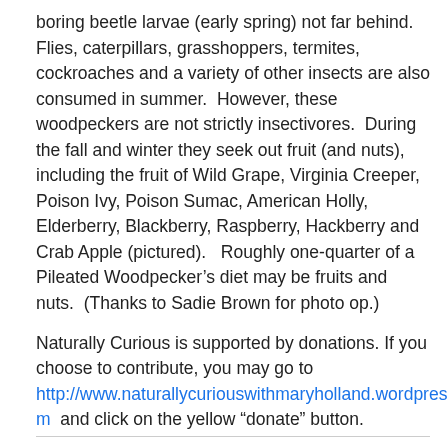boring beetle larvae (early spring) not far behind.  Flies, caterpillars, grasshoppers, termites, cockroaches and a variety of other insects are also consumed in summer.  However, these woodpeckers are not strictly insectivores.  During the fall and winter they seek out fruit (and nuts), including the fruit of Wild Grape, Virginia Creeper, Poison Ivy, Poison Sumac, American Holly, Elderberry, Blackberry, Raspberry, Hackberry and Crab Apple (pictured).   Roughly one-quarter of a Pileated Woodpecker's diet may be fruits and nuts.  (Thanks to Sadie Brown for photo op.)
Naturally Curious is supported by donations. If you choose to contribute, you may go to http://www.naturallycuriouswithmaryholland.wordpress.com  and click on the yellow “donate” button.